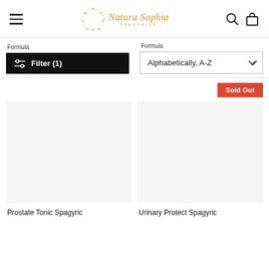Natura Sophia Spagyrics — navigation header with hamburger menu, logo, search and cart icons
Formula
Filter (1)
Formula
Alphabetically, A-Z
Sold Out
Prostate Tonic Spagyric
Urinary Protect Spagyric